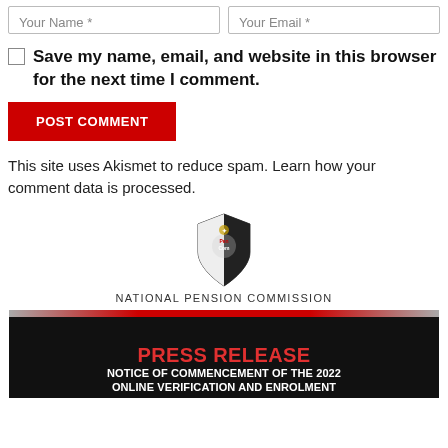Your Name *
Your Email *
Save my name, email, and website in this browser for the next time I comment.
POST COMMENT
This site uses Akismet to reduce spam. Learn how your comment data is processed.
[Figure (logo): National Pension Commission (PenCom) logo — a shield shape with black and white design and text 'PenCom' in the center, below which reads 'NATIONAL PENSION COMMISSION']
[Figure (infographic): Press Release banner with dark background and red/grey top bar. Title reads 'PRESS RELEASE' in red bold text, subtitle reads 'NOTICE OF COMMENCEMENT OF THE 2022 ONLINE VERIFICATION AND ENROLMENT' in white bold text on black background.]